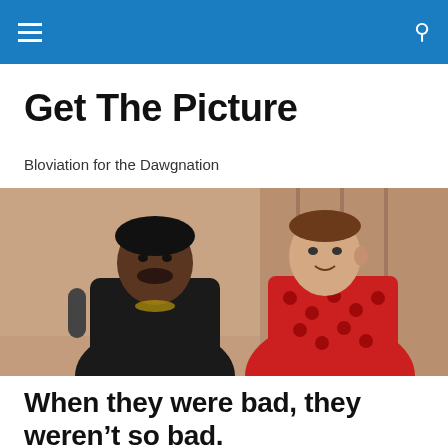Get The Picture — navigation bar
Get The Picture
Bloviation for the Dawgnation
[Figure (photo): Two men in 1970s style clothing sitting together — one in a black leather jacket with jewelry, one in a red patterned shirt]
When they were bad, they weren’t so bad.
Bill Connelly dives into what advanced stats say the best and worst games of 2016 were.